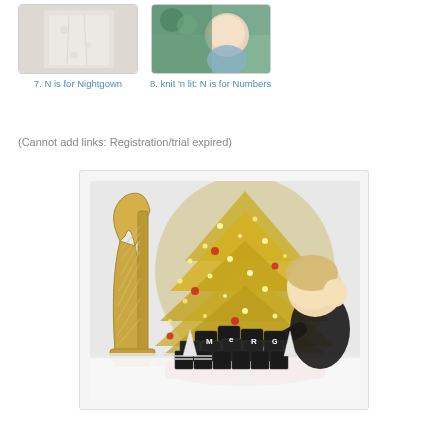[Figure (photo): Thumbnail of a white floral nightgown garment]
7. N is for Nightgown
[Figure (photo): Thumbnail of a baby or child, possibly with numbers theme]
8. knit 'n lit: N is for Numbers
(Cannot add links: Registration/trial expired)
[Figure (photo): Child playing with black and white alphabet/letter building blocks spelling MERRY, in front of a golden Christmas tree with lights. A gold harp is visible on the left side.]